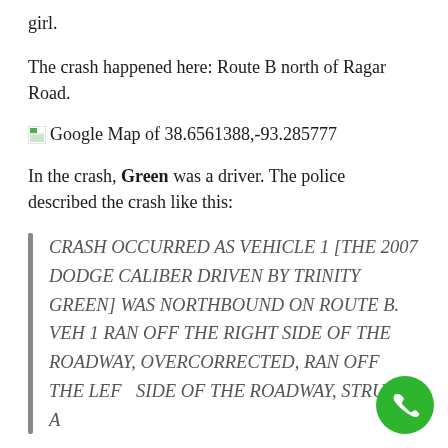girl.
The crash happened here: Route B north of Ragar Road.
[Figure (other): Google Map link icon followed by text: Google Map of 38.6561388,-93.285777]
In the crash, Green was a driver. The police described the crash like this:
CRASH OCCURRED AS VEHICLE 1 [THE 2007 DODGE CALIBER DRIVEN BY TRINITY GREEN] WAS NORTHBOUND ON ROUTE B. VEH 1 RAN OFF THE RIGHT SIDE OF THE ROADWAY, OVERCORRECTED, RAN OFF THE LEFT SIDE OF THE ROADWAY, STRUCK A